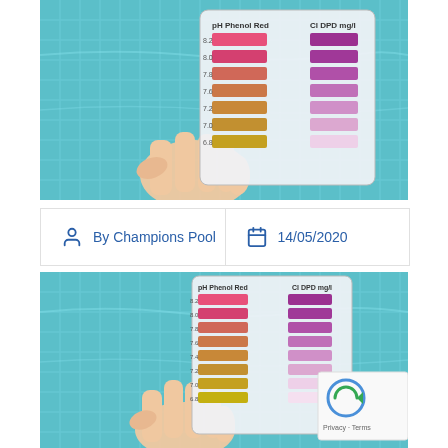[Figure (photo): A hand holding a pool water test kit with pH Phenol Red and Cl DPD color comparison strips, set against a blue tiled swimming pool background. Top of page photo.]
By Champions Pool
14/05/2020
[Figure (photo): A hand holding a pool water test kit with pH Phenol Red and Cl DPD color comparison strips, set against a blue tiled swimming pool background. Bottom of page photo.]